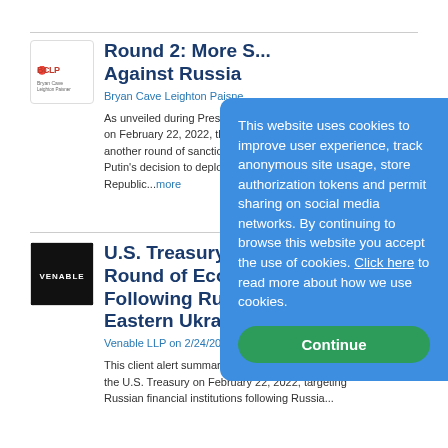[Figure (logo): Bryan Cave Leighton Paisner logo]
Round 2: More Sanctions Against Russia
Bryan Cave Leighton Paisner
As unveiled during President... on February 22, 2022, the U... another round of sanctions i... Putin's decision to deploy tr... Republic...more
[Figure (logo): Venable LLP logo]
U.S. Treasury Im... Round of Econo... Following Russia... Eastern Ukraine...
Venable LLP on 2/24/2022
This client alert summarizes... the U.S. Treasury on February 22, 2022, targeting Russian financial institutions following Russia...
This website uses cookies to improve user experience, track anonymous site usage, store authorization tokens and permit sharing on social media networks. By continuing to browse this website you accept the use of cookies. Click here to read more about how we use cookies.